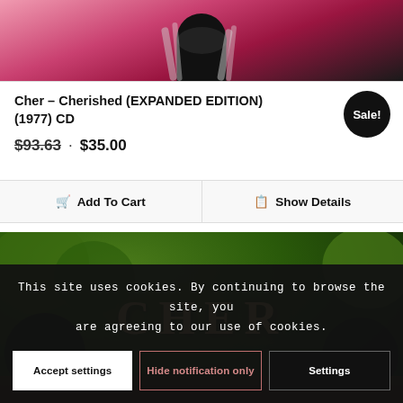[Figure (photo): Top portion of a product card for a Cher CD. Shows a cropped photo of Cher performing on stage against a pink/red background.]
Cher – Cherished (EXPANDED EDITION) (1977) CD
$93.63 · $35.00
Sale!
🛒 Add To Cart
📋 Show Details
[Figure (photo): Bottom portion showing a second Cher product with green foliage background and a stylized 'CHER' logo text in gold/yellow tones.]
This site uses cookies. By continuing to browse the site, you are agreeing to our use of cookies.
Accept settings
Hide notification only
Settings